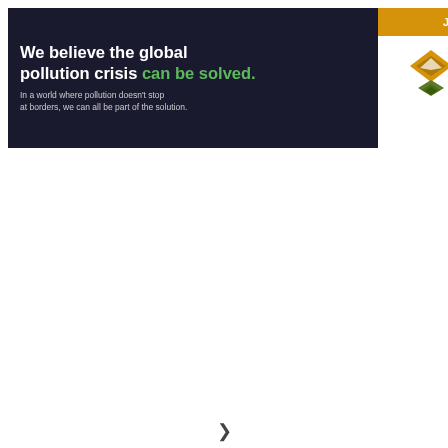[Figure (logo): Pure Earth advertisement banner with dark left panel containing headline text 'We believe the global pollution crisis can be solved.' with green colored 'can be solved.' and subtext 'In a world where pollution doesn't stop at borders, we can all be part of the solution.' Right panel shows orange 'JOIN US.' bar at top, then Pure Earth logo with diamond/leaf icon and PURE EARTH text.]
❯